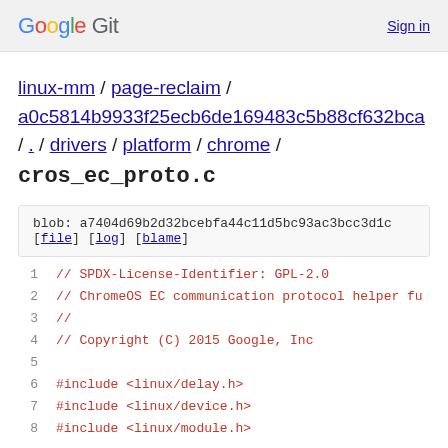Google Git  Sign in
linux-mm / page-reclaim / a0c5814b9933f25ecb6de169483c5b88cf632bca / . / drivers / platform / chrome /
cros_ec_proto.c
blob: a7404d69b2d32bcebfa44c11d5bc93ac3bcc3d1c
[file] [log] [blame]
1   // SPDX-License-Identifier: GPL-2.0
2   // ChromeOS EC communication protocol helper fu
3   //
4   // Copyright (C) 2015 Google, Inc
5
6   #include <linux/delay.h>
7   #include <linux/device.h>
8   #include <linux/module.h>